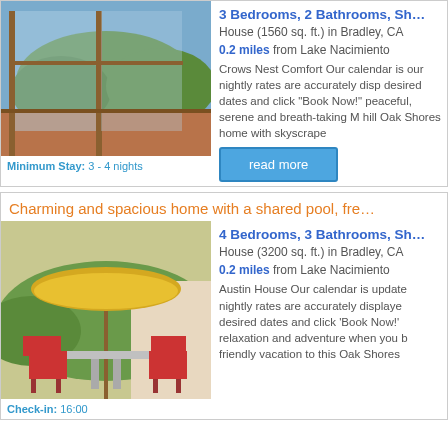3 Bedrooms, 2 Bathrooms, S[truncated]
House (1560 sq. ft.) in Bradley, CA
0.2 miles from Lake Nacimiento
Crows Nest Comfort Our calendar is... our nightly rates are accurately disp... desired dates and click "Book Now!"... peaceful, serene and breath-taking M... hill Oak Shores home with skyscrape...
Minimum Stay: 3 - 4 nights
Charming and spacious home with a shared pool, fre[truncated]
4 Bedrooms, 3 Bathrooms, Sh[truncated]
House (3200 sq. ft.) in Bradley, CA
0.2 miles from Lake Nacimiento
Austin House Our calendar is update... nightly rates are accurately displaye... desired dates and click 'Book Now!'... relaxation and adventure when you b... friendly vacation to this Oak Shores...
Check-in: 16:00